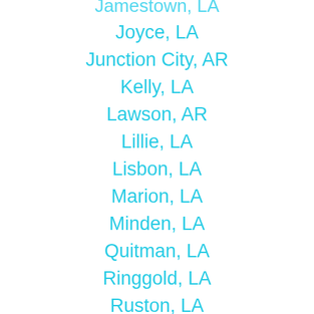Jamestown, LA
Joyce, LA
Junction City, AR
Kelly, LA
Lawson, AR
Lillie, LA
Lisbon, LA
Marion, LA
Minden, LA
Quitman, LA
Ringgold, LA
Ruston, LA
Saline, LA
Shongaloo, LA
Sikes, LA